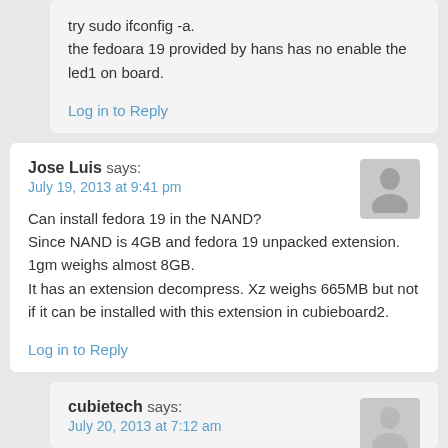try sudo ifconfig -a.
the fedoara 19 provided by hans has no enable the led1 on board.
Log in to Reply
Jose Luis says:
July 19, 2013 at 9:41 pm
Can install fedora 19 in the NAND?
Since NAND is 4GB and fedora 19 unpacked extension. 1gm weighs almost 8GB.
It has an extension decompress. Xz weighs 665MB but not if it can be installed with this extension in cubieboard2.
Log in to Reply
cubietech says:
July 20, 2013 at 7:12 am